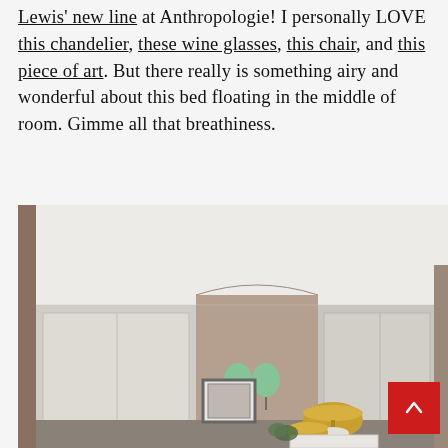Lewis' new line at Anthropologie! I personally LOVE this chandelier, these wine glasses, this chair, and this piece of art. But there really is something airy and wonderful about this bed floating in the middle of room. Gimme all that breathiness.
[Figure (photo): Interior bedroom/living space photo showing a modern room with light gray wardrobe panels on the left, a taupe/brown accent wall in the center, gray panels on the right, green balloon-shaped wall sconces, gold dome lamps on a side table, a framed artwork, and white ceiling. A red scroll-to-top button is overlaid in the lower right.]